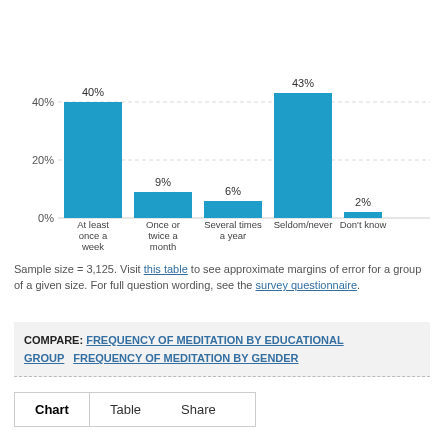[Figure (bar-chart): Frequency of Meditation]
Sample size = 3,125. Visit this table to see approximate margins of error for a group of a given size. For full question wording, see the survey questionnaire.
COMPARE: FREQUENCY OF MEDITATION BY EDUCATIONAL GROUP  FREQUENCY OF MEDITATION BY GENDER